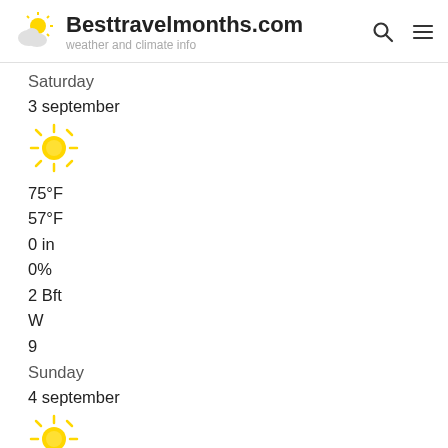Besttravelmonths.com
weather and climate info
Saturday
3 september
[Figure (illustration): Sun icon - yellow sun with rays, indicating sunny weather]
75°F
57°F
0 in
0%
2 Bft
W
9
Sunday
4 september
[Figure (illustration): Sun icon - yellow sun with rays, indicating sunny weather]
73°F
57°F
0 in
0%
2 Bft